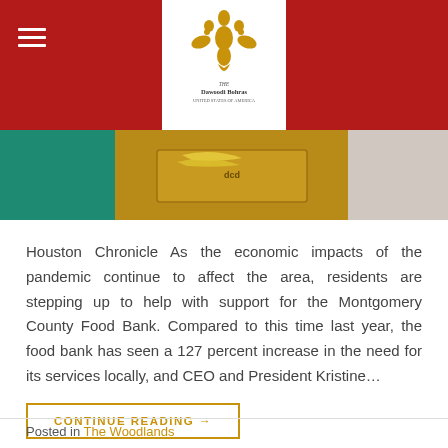[Figure (photo): Red header bar with hamburger menu icon on the left and white logo box in the center showing Dawoodi Bohras United States of America emblem]
[Figure (photo): Photo strip showing people with food bank items including bananas and boxes]
Houston Chronicle As the economic impacts of the pandemic continue to affect the area, residents are stepping up to help with support for the Montgomery County Food Bank. Compared to this time last year, the food bank has seen a 127 percent increase in the need for its services locally, and CEO and President Kristine...
CONTINUE READING →
Posted in The Woodlands